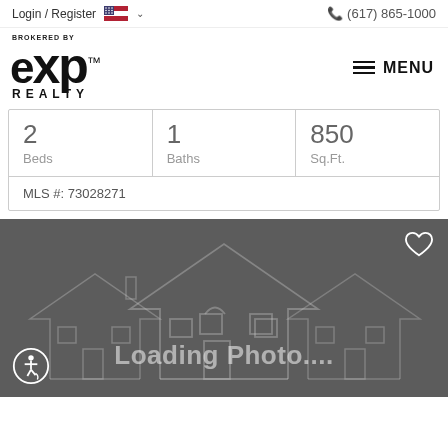Login / Register  (617) 865-1000
[Figure (logo): eXp Realty logo - BROKERED BY eXp REALTY with trademark symbol]
MENU
| Beds | Baths | Sq.Ft. |
| --- | --- | --- |
| 2 | 1 | 850 |
MLS #: 73028271
[Figure (photo): Loading Photo... placeholder image with house silhouette outline on dark gray background, heart icon in top right, accessibility icon in bottom left]